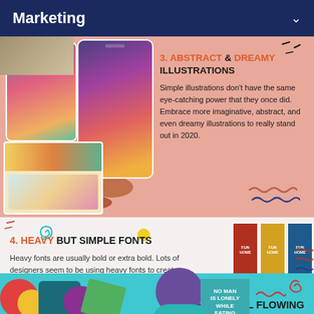Marketing
[Figure (infographic): Infographic section 3: Abstract & Dreamy Illustrations. Shows phone mockups with colorful abstract illustration apps and a card with colorful design. Coral/salmon pink background with decorative wavy lines.]
3. ABSTRACT & DREAMY ILLUSTRATIONS
Simple illustrations don't have the same eye-catching power that they once did. Embrace more imaginative, abstract, and even dreamy illustrations to really stand out in 2020.
[Figure (infographic): Infographic section 4: Heavy But Simple Fonts. Light background with Fun Home book covers, a laptop, and a teal sign reading NO MAN IS LONELY WHILE EATING SPAGHETTI. Decorative elements including teal spiral, yellow dot, purple and teal blobs.]
4. HEAVY BUT SIMPLE FONTS
Heavy fonts are usually bold or extra bold. Lots of designers seem to be using heavy fonts to create contrast and hierarchy in their designs by pairing them with a simple background or lighter font.
[Figure (infographic): Partial section 5: Beautiful Flowing... with colorful abstract shapes on teal background, partially cut off at bottom of page.]
5. BEAUTIFUL FLOWING